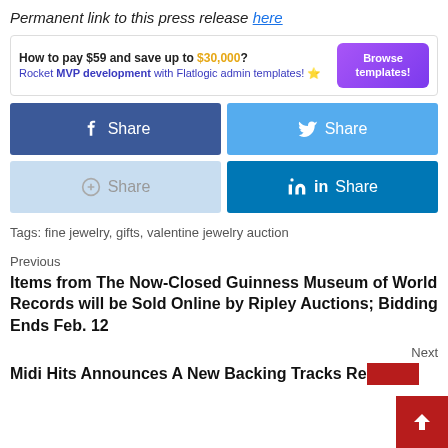Permanent link to this press release here
[Figure (infographic): Advertisement banner: 'How to pay $59 and save up to $30,000? Rocket MVP development with Flatlogic admin templates!' with a purple Browse templates! button]
[Figure (infographic): Four social share buttons: Facebook Share (dark blue), Twitter Share (light blue), Copy Share (pale blue), LinkedIn Share (teal blue)]
Tags: fine jewelry, gifts, valentine jewelry auction
Previous
Items from The Now-Closed Guinness Museum of World Records will be Sold Online by Ripley Auctions; Bidding Ends Feb. 12
Next
Midi Hits Announces A New Backing Tracks Re…